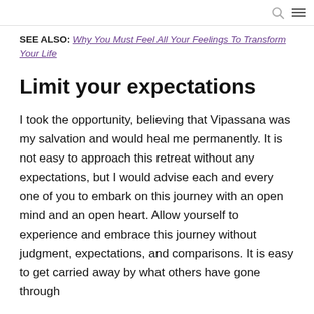SEE ALSO: Why You Must Feel All Your Feelings To Transform Your Life
Limit your expectations
I took the opportunity, believing that Vipassana was my salvation and would heal me permanently. It is not easy to approach this retreat without any expectations, but I would advise each and every one of you to embark on this journey with an open mind and an open heart. Allow yourself to experience and embrace this journey without judgment, expectations, and comparisons. It is easy to get carried away by what others have gone through